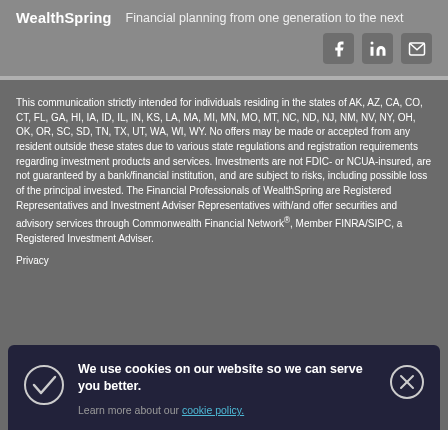WealthSpring   Financial planning from one generation to the next
This communication strictly intended for individuals residing in the states of AK, AZ, CA, CO, CT, FL, GA, HI, IA, ID, IL, IN, KS, LA, MA, MI, MN, MO, MT, NC, ND, NJ, NM, NV, NY, OH, OK, OR, SC, SD, TN, TX, UT, WA, WI, WY. No offers may be made or accepted from any resident outside these states due to various state regulations and registration requirements regarding investment products and services. Investments are not FDIC- or NCUA-insured, are not guaranteed by a bank/financial institution, and are subject to risks, including possible loss of the principal invested. The Financial Professionals of WealthSpring are Registered Representatives and Investment Adviser Representatives with/and offer securities and advisory services through Commonwealth Financial Network®, Member FINRA/SIPC, a Registered Investment Adviser.
Privacy
We use cookies on our website so we can serve you better.
Learn more about our cookie policy.